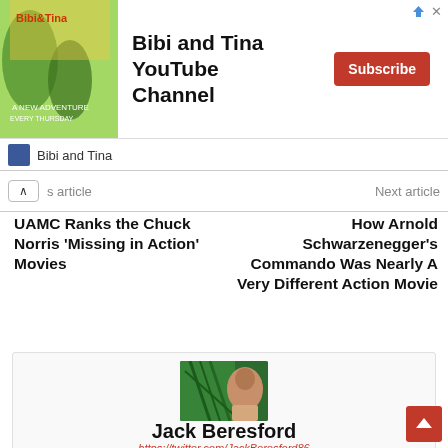[Figure (other): Advertisement banner for Bibi and Tina YouTube Channel with Subscribe button]
Bibi and Tina
Previous article   Next article
UAMC Ranks the Chuck Norris ‘Missing in Action’ Movies
How Arnold Schwarzenegger’s Commando Was Nearly A Very Different Action Movie
[Figure (photo): Author photo of Jack Beresford - person partially visible behind green tropical plant]
Jack Beresford
https://twitter.com/JackBeresford86